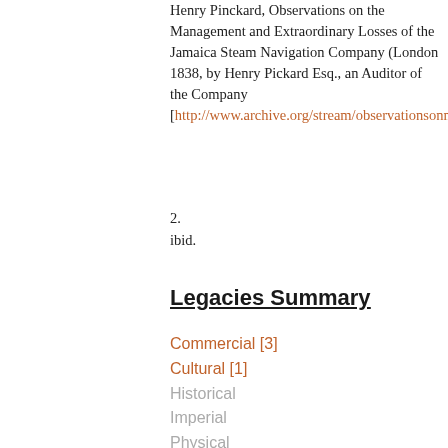Henry Pinckard, Observations on the Management and Extraordinary Losses of the Jamaica Steam Navigation Company (London 1838, by Henry Pickard Esq., an Auditor of the Company [http://www.archive.org/stream/observationsonm00pincgoog/observationsonm00pincgoog_dvju.tx
2.
ibid.
Legacies Summary
Commercial [3]
Cultural [1]
Historical
Imperial
Physical
Political